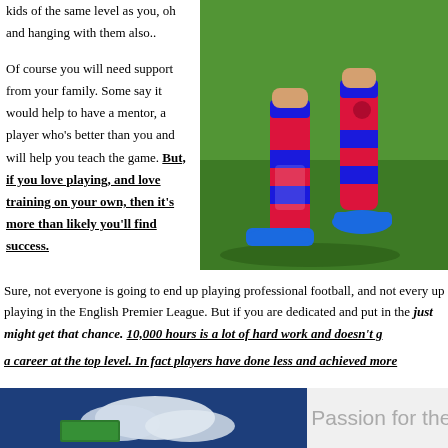kids of the same level as you, oh and hanging with them also..
Of course you will need support from your family. Some say it would help to have a mentor, a player who's better than you and will help you teach the game. But, if you love playing, and love training on your own, then it's more than likely you'll find success.
[Figure (photo): Close-up of a soccer player's legs in blue and red Barcelona kit with blue cleats on green grass]
Sure, not everyone is going to end up playing professional football, and not every up playing in the English Premier League. But if you are dedicated and put in the just might get that chance. 10,000 hours is a lot of hard work and doesn't g a career at the top level. In fact players have done less and achieved more
[Figure (photo): Clouds on dark blue sky background with green sign]
Passion for the